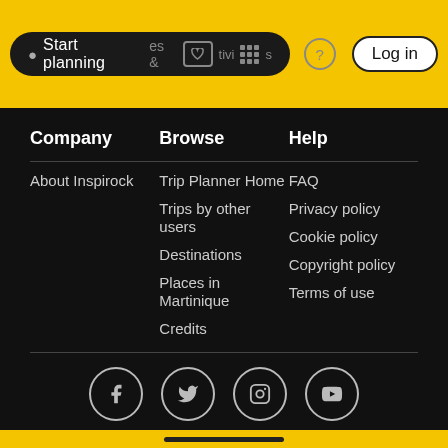[Figure (screenshot): Yellow navigation header bar with dark search pill reading 'Start planning', nav icons, help circle, and Log in button]
Company
Browse
Help
About Inspirock
Trip Planner Home
FAQ
Trips by other users
Privacy policy
Destinations
Cookie policy
Places in Martinique
Copyright policy
Credits
Terms of use
[Figure (infographic): Social media icons row: Facebook, Twitter, Instagram, YouTube — each in an outlined circle]